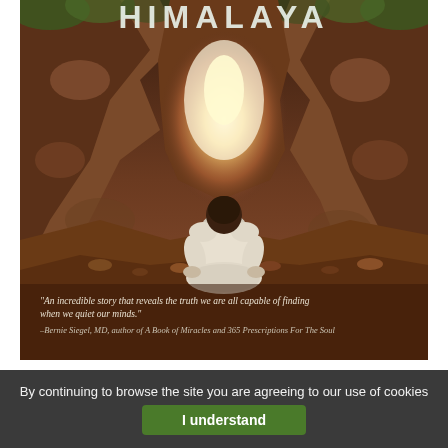[Figure (illustration): Book cover for 'HIMALAYA'. Shows a child sitting in meditation pose (lotus position) facing away from the viewer, looking toward a glowing light emanating from rocky cliff/cave formations. The scene is painted in warm earthy tones with oranges, browns, and greens. At the bottom of the cover is a quote: 'An incredible story that reveals the truth we are all capable of finding when we quiet our minds.' attributed to Bernie Siegel, MD, author of A Book of Miracles and 365 Prescriptions For The Soul.]
By continuing to browse the site you are agreeing to our use of cookies
I understand